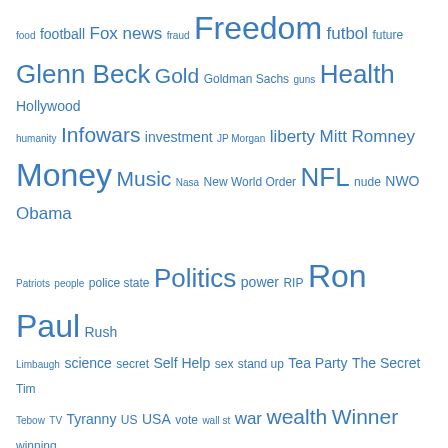[Figure (other): Tag cloud with words of varying sizes in blue, including: food, football, Fox news, fraud, Freedom, futbol, future, Glenn Beck, Gold, Goldman Sachs, guns, Health, Hollywood, humanity, Infowars, investment, JP Morgan, liberty, Mitt Romney, Money, Music, Nasa, New World Order, NFL, nude, NWO, Obama, Patriots, people, police state, Politics, power, RIP, Ron Paul, Rush Limbaugh, science, secret, Self Help, sex, stand up, Tea Party, The Secret, Tim Tebow, TV, Tyranny, US, USA, vote, wall st, war, wealth, Winner, winning, you have been warned]
Top Clicks
None